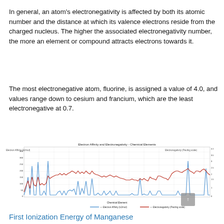In general, an atom's electronegativity is affected by both its atomic number and the distance at which its valence electrons reside from the charged nucleus. The higher the associated electronegativity number, the more an element or compound attracts electrons towards it.
The most electronegative atom, fluorine, is assigned a value of 4.0, and values range down to cesium and francium, which are the least electronegative at 0.7.
[Figure (line-chart): Dual-axis line chart showing Electron Affinity (kJ/mol) on the left y-axis and Electronegativity (Pauling scale) on the right y-axis, both plotted against chemical elements on the x-axis. The blue line represents Electron Affinity and the red line represents Electronegativity.]
First Ionization Energy of Manganese